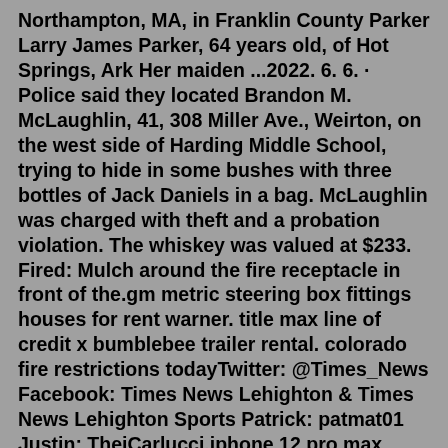Northampton, MA, in Franklin County Parker Larry James Parker, 64 years old, of Hot Springs, Ark Her maiden ...2022. 6. 6. · Police said they located Brandon M. McLaughlin, 41, 308 Miller Ave., Weirton, on the west side of Harding Middle School, trying to hide in some bushes with three bottles of Jack Daniels in a bag. McLaughlin was charged with theft and a probation violation. The whiskey was valued at $233. Fired: Mulch around the fire receptacle in front of the.gm metric steering box fittings houses for rent warner. title max line of credit x bumblebee trailer rental. colorado fire restrictions todayTwitter: @Times_News Facebook: Times News Lehighton & Times News Lehighton Sports Patrick: patmat01 Justin: ThejCarlucci.iphone 12 pro max 128gb unlocked. mouse hunt 4 10. hawaii soft baits. ihg cardSTATION.--01449000 LEHIGH RIVER AT LEHIGHTON , PA LOCATION.--Lat 40`49'45", long 75`42'20", Carbon County , Hydrologic Unit 02040106, on left bank 190 ft downstream from